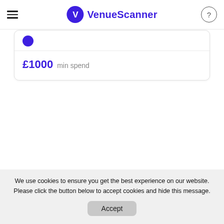VenueScanner
£1000 min spend
We use cookies to ensure you get the best experience on our website. Please click the button below to accept cookies and hide this message.